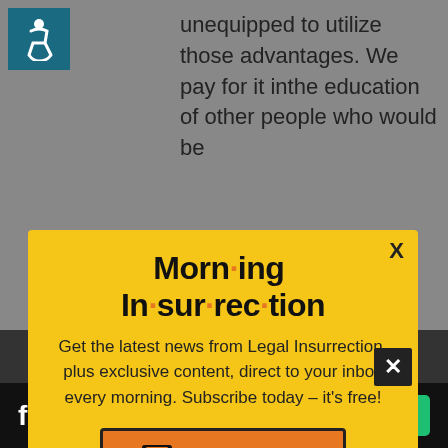[Figure (illustration): Accessibility icon (wheelchair user) in teal square]
unequipped to utilize those advantages. We pay for it inthe education of other people who would be
[Figure (screenshot): Morning Insurrection newsletter modal popup with yellow background, title 'Morn·ing In·sur·rec·tion', subscription text, and JOIN NOW button]
violence and illnesses, and in politics, fire, and other
[Figure (logo): Fiverr advertisement banner with 'fiverr' logo and 'Start Now' green button]